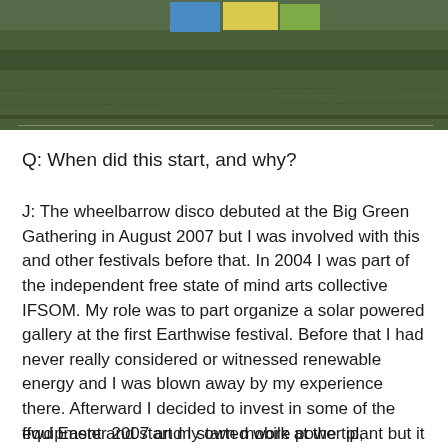[Figure (photo): Outdoor photo showing a grassy field with colorful signs or banners visible at the top, appearing to be from a festival or outdoor event.]
Q: When did this start, and why?
J: The wheelbarrow disco debuted at the Big Green Gathering in August 2007 but I was involved with this and other festivals before that. In 2004 I was part of the independent free state of mind arts collective IFSOM. My role was to part organize a solar powered gallery at the first Earthwise festival. Before that I had never really considered or witnessed renewable energy and I was blown away by my experience there. Afterward I decided to invest in some of the equipment and start my own mobile power plant but it took two more years for me to get something resembling a renewable system called Creative Dynamo.
ffwd Easter 2007 and I started work at the tip, recycling for a